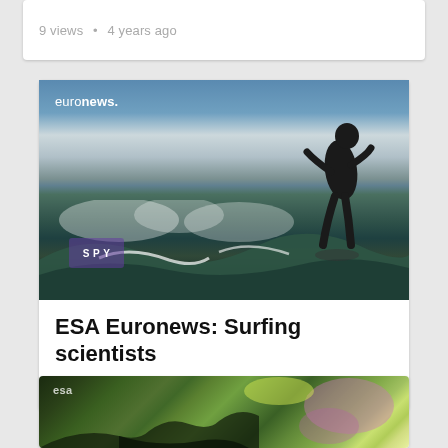9 views • 4 years ago
[Figure (photo): Video thumbnail showing a surfer riding a wave, wearing a black wetsuit, with an Euronews logo watermark in the top-left corner and a purple SPY badge overlay in the bottom-left.]
ESA Euronews: Surfing scientists
219 views • 4 years ago
[Figure (photo): Satellite image showing coastal land area with green vegetation and estuary/water features, with an ESA watermark in the top-left.]